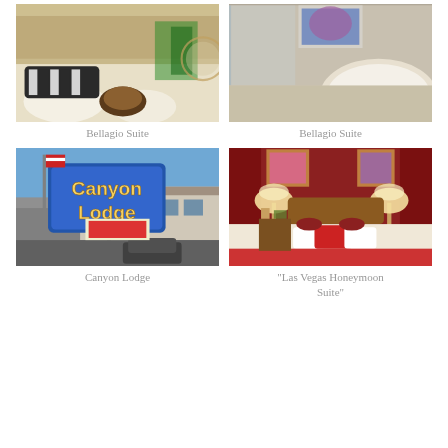[Figure (photo): Interior of Bellagio Suite showing living room with striped sofa, round coffee table, and geometric patterned floor]
Bellagio Suite
[Figure (photo): Bathroom of Bellagio Suite with corner jacuzzi tub, marble walls, and framed artwork]
Bellagio Suite
[Figure (photo): Exterior sign of Canyon Lodge motel with blue sign against blue sky, parking lot and building visible]
Canyon Lodge
[Figure (photo): Interior bedroom of Las Vegas Honeymoon Suite with red decorations, lamps, and beds with pillows]
“Las Vegas Honeymoon Suite”